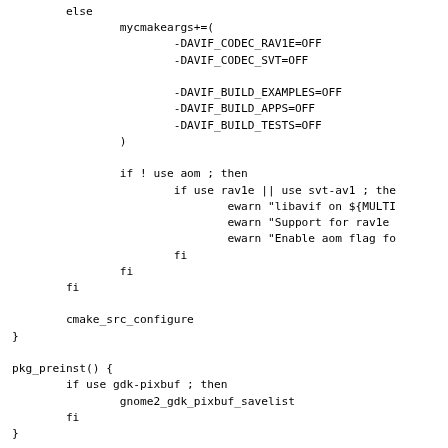else
            mycmakeargs+=(
                    -DAVIF_CODEC_RAV1E=OFF
                    -DAVIF_CODEC_SVT=OFF

                    -DAVIF_BUILD_EXAMPLES=OFF
                    -DAVIF_BUILD_APPS=OFF
                    -DAVIF_BUILD_TESTS=OFF
            )

            if ! use aom ; then
                    if use rav1e || use svt-av1 ; the
                            ewarn "libavif on ${MULTI
                            ewarn "Support for rav1e
                            ewarn "Enable aom flag fo
                    fi
            fi
    fi

    cmake_src_configure
}

pkg_preinst() {
        if use gdk-pixbuf ; then
                gnome2_gdk_pixbuf_savelist
        fi
}

pkg_postinst() {
        if ! use aom && ! use rav1e && ! use svt-av1 ; th